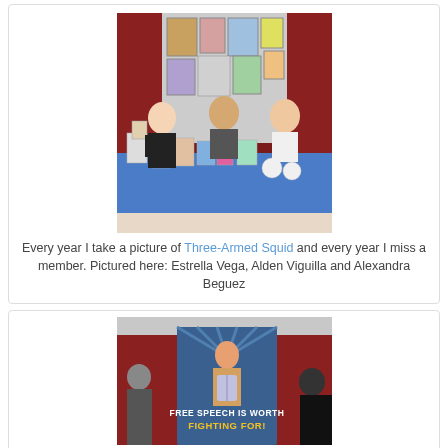[Figure (photo): Three people (Estrella Vega, Alden Viguilla and Alexandra Beguez) standing behind a table displaying artwork and merchandise at an art convention booth. Red curtains and framed artwork visible in background. Blue tablecloth on the display table.]
Every year I take a picture of Three-Armed Squid and every year I miss a member. Pictured here: Estrella Vega, Alden Viguilla and Alexandra Beguez
[Figure (photo): Partial view of a convention or event space showing a banner/poster featuring an illustrated woman holding a book, with text reading 'FREE SPEECH IS WORTH FIGHTING FOR!' A person visible on the left side.]